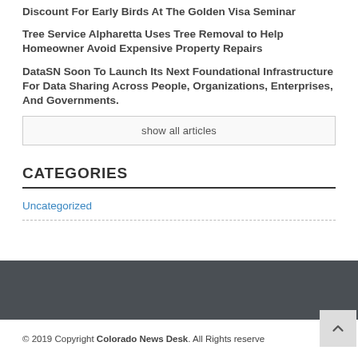Discount For Early Birds At The Golden Visa Seminar
Tree Service Alpharetta Uses Tree Removal to Help Homeowner Avoid Expensive Property Repairs
DataSN Soon To Launch Its Next Foundational Infrastructure For Data Sharing Across People, Organizations, Enterprises, And Governments.
show all articles
CATEGORIES
Uncategorized
© 2019 Copyright Colorado News Desk. All Rights reserve